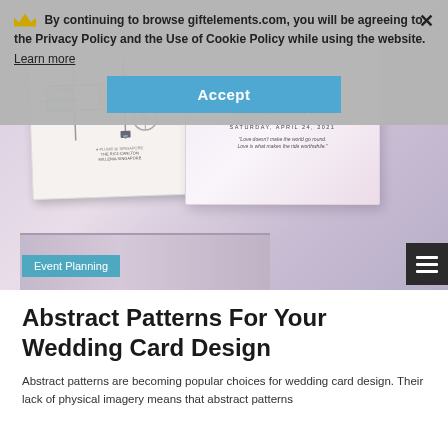By continuing to browse giftelements.com, you will be agreeing to the Privacy Policy and the Use of Cookie Policy while using the website. Learn more
[Figure (photo): Wedding invitation cards with abstract pink/purple marble patterns. One card shows a map to The Ritz-Carlton Millenia Singapore, another shows a script font invitation for 'Valarmathi' dated Saturday, April 24, 2021 with a quote about love.]
Event Planning
Abstract Patterns For Your Wedding Card Design
Abstract patterns are becoming popular choices for wedding card design. Their lack of physical imagery means that abstract patterns